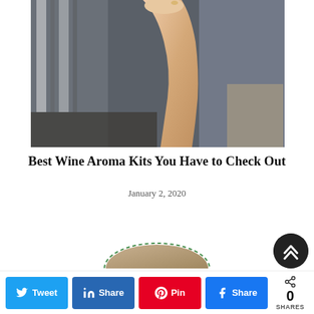[Figure (photo): A person lifting a wine glass, showing their arm and hand raised up, with blurred background of striped clothing and furniture in warm tones.]
Best Wine Aroma Kits You Have to Check Out
January 2, 2020
[Figure (photo): Partially visible thumbnail of an image at the bottom of the page, with a dashed green border arc above it.]
[Figure (other): Scroll-to-top circular button (dark background with up arrow icon) at bottom right.]
N Tweet  s Share  A Pin  f Share  0 SHARES